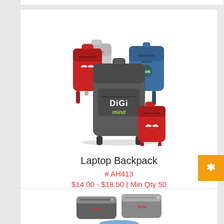[Figure (photo): Product photo showing multiple laptop backpacks in different colors (gray, red, white, blue) with a large gray backpack in front showing a 'digi mind' logo branding, and smaller red, white/gray, and blue backpacks behind it.]
Laptop Backpack
# AH413
$14.00 - $18.50 | Min Qty 50
[Figure (photo): Partial product photo showing toiletry/dopp kit bags in gray with red branding logos.]